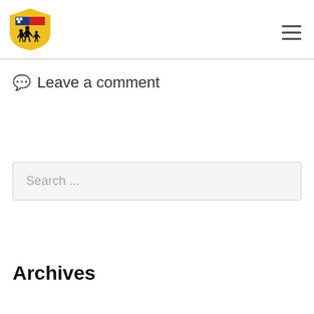[Figure (logo): Organization logo with American flag and family silhouette on yellow shield background]
Leave a comment
Search ...
Archives